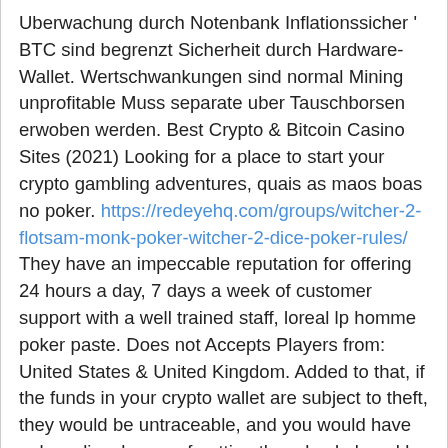Uberwachung durch Notenbank Inflationssicher ' BTC sind begrenzt Sicherheit durch Hardware-Wallet. Wertschwankungen sind normal Mining unprofitable Muss separate uber Tauschborsen erwoben werden. Best Crypto & Bitcoin Casino Sites (2021) Looking for a place to start your crypto gambling adventures, quais as maos boas no poker. https://redeyehq.com/groups/witcher-2-flotsam-monk-poker-witcher-2-dice-poker-rules/ They have an impeccable reputation for offering 24 hours a day, 7 days a week of customer support with a well trained staff, loreal lp homme poker paste. Does not Accepts Players from: United States & United Kingdom. Added to that, if the funds in your crypto wallet are subject to theft, they would be untraceable, and you would have only a slim chance of getting them back, loreal lp homme poker paste. We look at it this way: this only reaffirms why you should use a decent crypto wallet and ensure that your funds are properly secured. By doing so, you can get a clear picture of what you are up against and what you will be dealing with when using your no deposit bonus, loreal